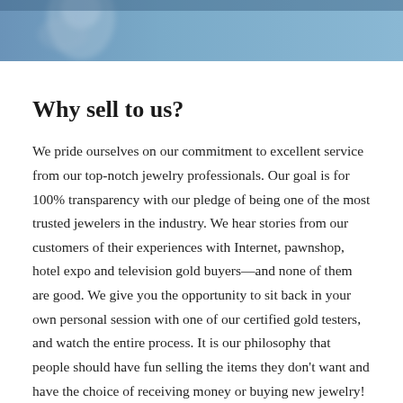[Figure (photo): Blue-toned header image with a blurred face or portrait, serving as a decorative banner at the top of the page.]
Why sell to us?
We pride ourselves on our commitment to excellent service from our top-notch jewelry professionals. Our goal is for 100% transparency with our pledge of being one of the most trusted jewelers in the industry. We hear stories from our customers of their experiences with Internet, pawnshop, hotel expo and television gold buyers—and none of them are good. We give you the opportunity to sit back in your own personal session with one of our certified gold testers, and watch the entire process. It is our philosophy that people should have fun selling the items they don't want and have the choice of receiving money or buying new jewelry! The